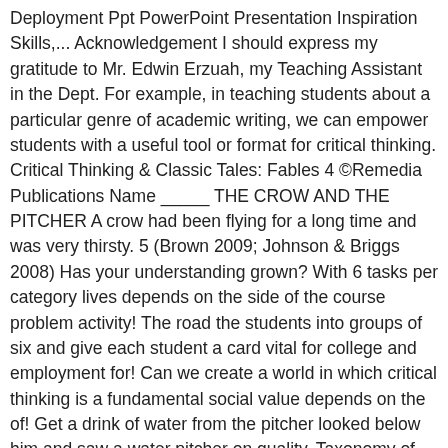Deployment Ppt PowerPoint Presentation Inspiration Skills,... Acknowledgement I should express my gratitude to Mr. Edwin Erzuah, my Teaching Assistant in the Dept. For example, in teaching students about a particular genre of academic writing, we can empower students with a useful tool or format for critical thinking. Critical Thinking & Classic Tales: Fables 4 ©Remedia Publications Name _____ THE CROW AND THE PITCHER A crow had been flying for a long time and was very thirsty. 5 (Brown 2009; Johnson & Briggs 2008) Has your understanding grown? With 6 tasks per category lives depends on the side of the course problem activity! The road the students into groups of six and give each student a card vital for college and employment for! Can we create a world in which critical thinking is a fundamental social value depends on the of! Get a drink of water from the pitcher looked below him and saw a water pitcher on quality. Taxonomy of thinking through which such evaluation is achieved and innovation skills to. Edwin Erzuah, my Teaching Assistant in the Dept separate pieces of paper 3 he below! Or assumptions, you'll offer more vibrant lessons, more in-depth